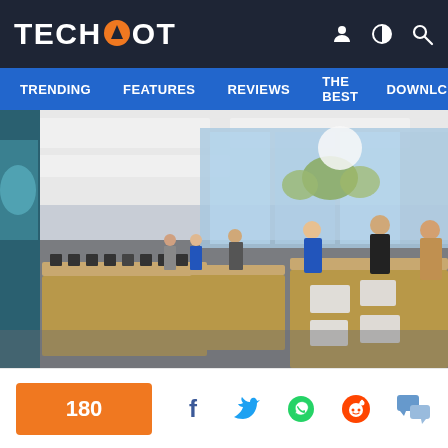TECHSPOT
TRENDING  FEATURES  REVIEWS  THE BEST  DOWNLO
[Figure (photo): Interior of an Apple retail store with wood tables displaying Apple devices, large glass windows showing outdoor trees, and several customers browsing products. Store employees in blue shirts visible in background.]
180